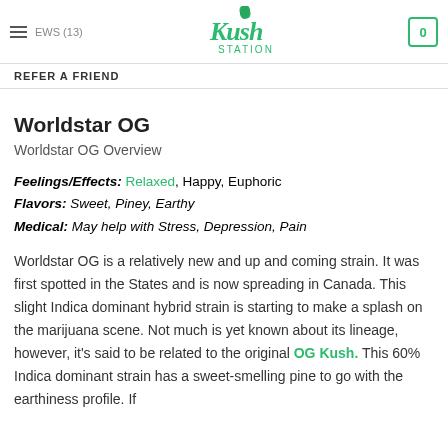REVIEWS (13) | Kush Station | 0
REFER A FRIEND
Worldstar OG
Worldstar OG Overview
Feelings/Effects: Relaxed, Happy, Euphoric
Flavors: Sweet, Piney, Earthy
Medical: May help with Stress, Depression, Pain
Worldstar OG is a relatively new and up and coming strain. It was first spotted in the States and is now spreading in Canada. This slight Indica dominant hybrid strain is starting to make a splash on the marijuana scene. Not much is yet known about its lineage, however, it's said to be related to the original OG Kush. This 60% Indica dominant strain has a sweet-smelling pine to go with the earthiness profile. If